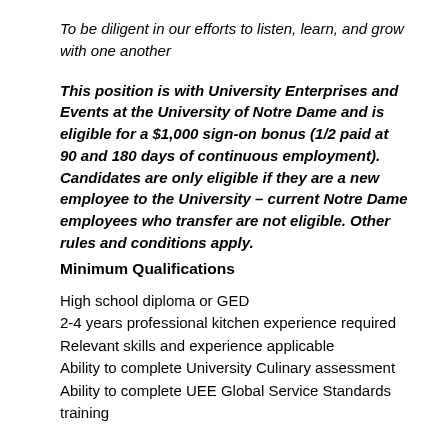To be diligent in our efforts to listen, learn, and grow with one another
This position is with University Enterprises and Events at the University of Notre Dame and is eligible for a $1,000 sign-on bonus (1/2 paid at 90 and 180 days of continuous employment). Candidates are only eligible if they are a new employee to the University – current Notre Dame employees who transfer are not eligible. Other rules and conditions apply.
Minimum Qualifications
High school diploma or GED
2-4 years professional kitchen experience required
Relevant skills and experience applicable
Ability to complete University Culinary assessment
Ability to complete UEE Global Service Standards training